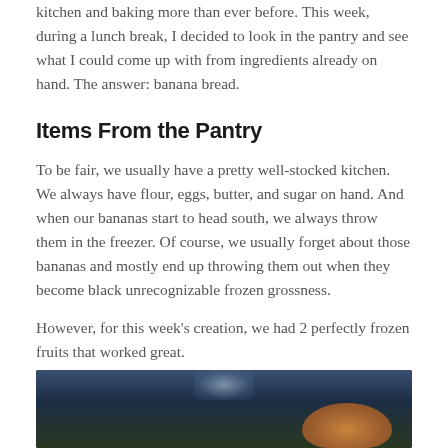kitchen and baking more than ever before. This week, during a lunch break, I decided to look in the pantry and see what I could come up with from ingredients already on hand. The answer: banana bread.
Items From the Pantry
To be fair, we usually have a pretty well-stocked kitchen. We always have flour, eggs, butter, and sugar on hand. And when our bananas start to head south, we always throw them in the freezer. Of course, we usually forget about those bananas and mostly end up throwing them out when they become black unrecognizable frozen grossness.
However, for this week's creation, we had 2 perfectly frozen fruits that worked great.
[Figure (photo): Photo of banana bread in a baking pan, partially visible at the bottom of the page, with a dark blue/teal background and warm brown bread visible in the lower right.]